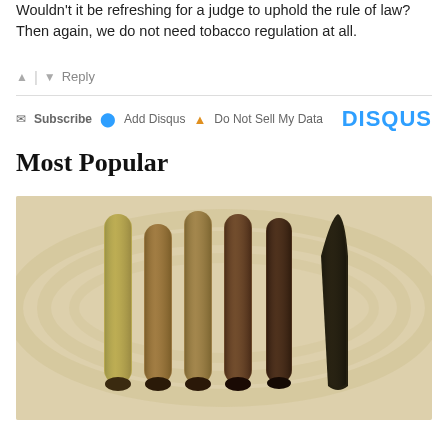Wouldn't it be refreshing for a judge to uphold the rule of law? Then again, we do not need tobacco regulation at all.
▲ | ▼  Reply
✉ Subscribe  ● Add Disqus  ▲ Do Not Sell My Data    DISQUS
Most Popular
[Figure (photo): Six cigars of varying shades from light tan/green to very dark brown/black, arranged side by side on a light wood surface, ranging in color from claro to oscuro.]